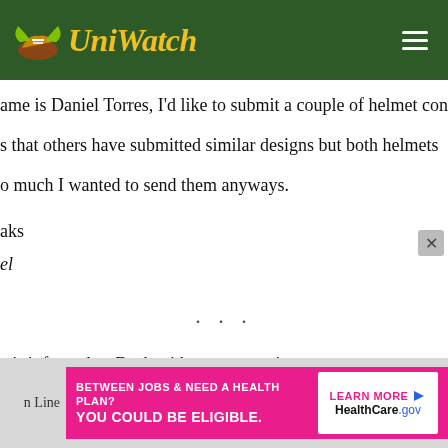[Figure (logo): Uni Watch logo with winged shoe icon and yellow italic text on dark green header bar]
ame is Daniel Torres, I’d like to submit a couple of helmet conce… s that others have submitted similar designs but both helmets … o much I wanted to send them anyways.
aks
el
…
at’s it for today. Back with more next time.
[Figure (screenshot): Pink advertisement banner: BETWEEN JOBS & NEED A HEALTH PLAN? YOU COULD BE ELIGIBLE. LEARN MORE HealthCare.gov]